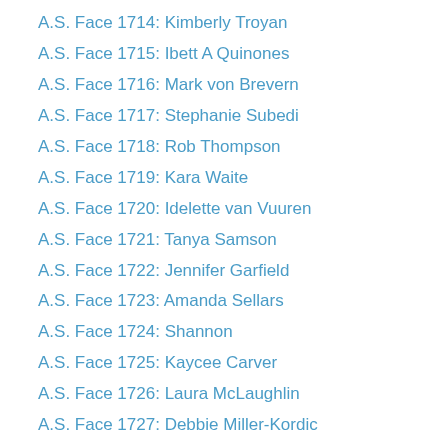A.S. Face 1714: Kimberly Troyan
A.S. Face 1715: Ibett A Quinones
A.S. Face 1716: Mark von Brevern
A.S. Face 1717: Stephanie Subedi
A.S. Face 1718: Rob Thompson
A.S. Face 1719: Kara Waite
A.S. Face 1720: Idelette van Vuuren
A.S. Face 1721: Tanya Samson
A.S. Face 1722: Jennifer Garfield
A.S. Face 1723: Amanda Sellars
A.S. Face 1724: Shannon
A.S. Face 1725: Kaycee Carver
A.S. Face 1726: Laura McLaughlin
A.S. Face 1727: Debbie Miller-Kordic
A.S. Face 1728: Carl F. Miller
A.S. Face 1729: Norma Vazquez
A.S. Face 1730: Melissa Simons
A.S. Face 1731: Donna
A.S. Face 1732: Faith Richardson
A.S. Face 1733: Heather